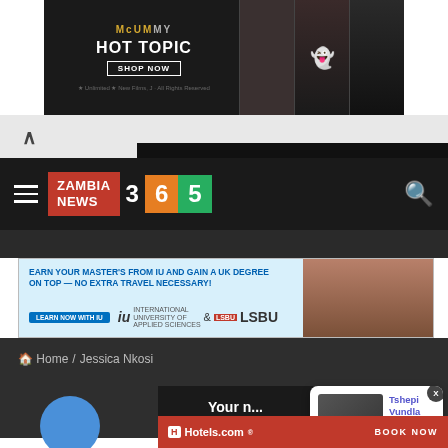[Figure (screenshot): Hot Topic advertisement banner featuring The Mummy movie merchandise with dark background, product images, and 'SHOP NOW' button]
[Figure (screenshot): Zambia News 365 website navigation bar with hamburger menu, red/orange/green logo, and search icon on dark background]
[Figure (screenshot): IU International University and LSBU advertisement: 'EARN YOUR MASTER'S FROM IU AND GAIN A UK DEGREE ON TOP — NO EXTRA TRAVEL NECESSARY!' with person smiling]
Home / Jessica Nkosi
[Figure (screenshot): Push notification popup: 'Tshepi Vundla slams engagement speculations' with thumbnail image, '6 hours ago' timestamp]
[Figure (screenshot): Hotels.com advertisement bar in red with 'BOOK NOW' button]